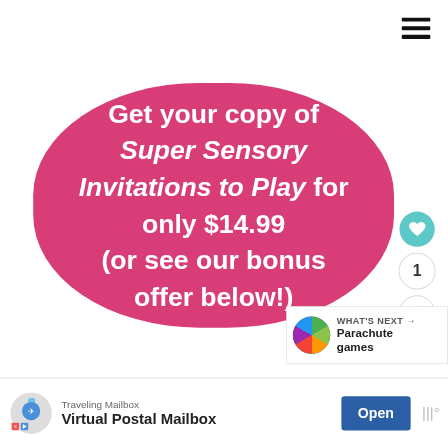[Figure (other): Hamburger menu icon (three horizontal lines) in top-right corner]
Get your copy of Super Sensory Invitations to Play for only $14.99 (or see our bonus offer below!)
[Figure (other): Heart/like button (teal circle with heart icon), count badge showing 1, and share button]
[Figure (other): What's Next arrow panel showing thumbnail and text 'Parachute games']
[Figure (other): Advertisement banner: Traveling Mailbox - Virtual Postal Mailbox with Open button]